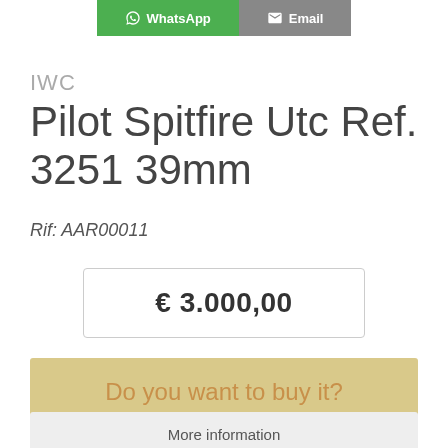[Figure (screenshot): Top navigation buttons: WhatsApp (green) and Email (grey)]
IWC
Pilot Spitfire Utc Ref. 3251 39mm
Rif: AAR00011
€ 3.000,00
Do you want to buy it?
More information